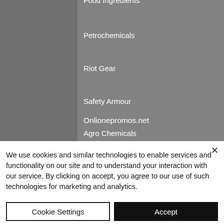Food Ingredients
Petrochemicals
Riot Gear
Safety Armour
Onlionepromos.net
Agro Chemicals
Protiens
We use cookies and similar technologies to enable services and functionality on our site and to understand your interaction with our service. By clicking on accept, you agree to our use of such technologies for marketing and analytics.
Cookie Settings
Accept